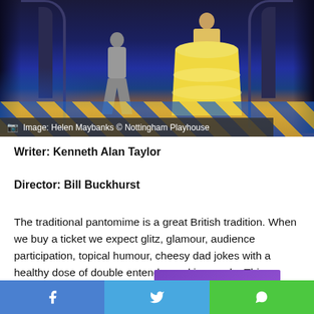[Figure (photo): Stage production photo showing two performers in theatrical costume on a stage with gothic arches, colorful diamond-pattern floor, and dramatic blue-purple lighting. One figure wears a large yellow ball gown dress. Nottingham Playhouse production.]
Image: Helen Maybanks © Nottingham Playhouse
Writer: Kenneth Alan Taylor
Director: Bill Buckhurst
The traditional pantomime is a great British tradition. When we buy a ticket we expect glitz, glamour, audience participation, topical humour, cheesy dad jokes with a healthy dose of double entendre and innuendo. This pantomime has all the above and more.
[Figure (other): Purple gradient banner with white text reading 'Do you have']